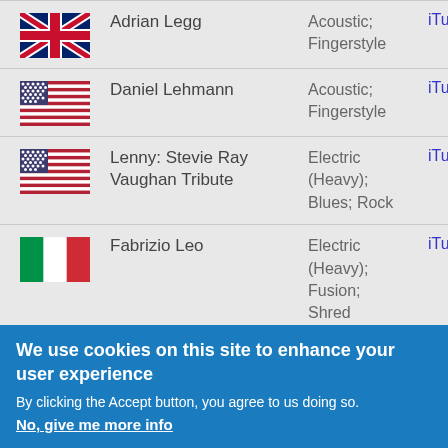| Flag | Name | Genre | Link |
| --- | --- | --- | --- |
| UK | Adrian Legg | Acoustic; Fingerstyle | iTu... |
| US | Daniel Lehmann | Acoustic; Fingerstyle | iTu... |
| US | Lenny: Stevie Ray Vaughan Tribute | Electric (Heavy); Blues; Rock | iTu... |
| IT | Fabrizio Leo | Electric (Heavy); Fusion; Shred | iTu... |
| US | Leon | Electric; Smooth | iTu... |
We use cookies on this site to enhance your user experience
By clicking the Accept button, you agree to us doing so.
No, give me more info